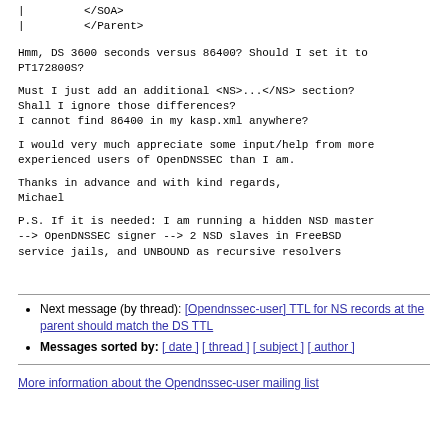|         </SOA>
|         </Parent>
Hmm, DS 3600 seconds versus 86400? Should I set it to PT172800S?
Must I just add an additional <NS>...</NS> section?
Shall I ignore those differences?
I cannot find 86400 in my kasp.xml anywhere?
I would very much appreciate some input/help from more experienced users of OpenDNSSEC than I am.
Thanks in advance and with kind regards,
Michael
P.S. If it is needed: I am running a hidden NSD master --> OpenDNSSEC signer --> 2 NSD slaves in FreeBSD service jails, and UNBOUND as recursive resolvers
Next message (by thread): [Opendnssec-user] TTL for NS records at the parent should match the DS TTL
Messages sorted by: [ date ] [ thread ] [ subject ] [ author ]
More information about the Opendnssec-user mailing list